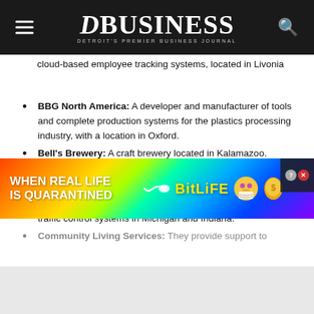DBusiness — Detroit's Premier Business Journal
cloud-based employee tracking systems, located in Livonia
BBG North America: A developer and manufacturer of tools and complete production systems for the plastics processing industry, with a location in Oxford.
Bell's Brewery: A craft brewery located in Kalamazoo.
Brown Aerospace: A supplier of automated devices for the aerospace industry, located in Kimball.
Carrier & Gable: A Farmington Hills company that provides traffic control systems in Michigan and Indiana.
Community Living Services: They provide support to…
[Figure (infographic): BitLife mobile game advertisement banner with rainbow gradient background, 'WHEN REAL LIFE IS QUARANTINED' text on left, sperm emoji and BitLife logo in center, cartoon face and coin icons on right, close button in top-right corner.]